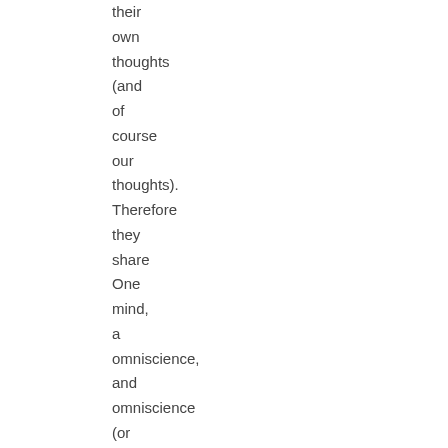their own thoughts (and of course our thoughts). Therefore they share One mind, a omniscience, and omniscience (or maximal power as Ostler calls it) because they freely chose